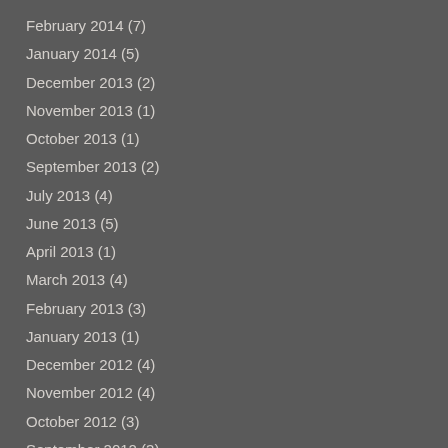February 2014 (7)
January 2014 (5)
December 2013 (2)
November 2013 (1)
October 2013 (1)
September 2013 (2)
July 2013 (4)
June 2013 (5)
April 2013 (1)
March 2013 (4)
February 2013 (3)
January 2013 (1)
December 2012 (4)
November 2012 (4)
October 2012 (3)
September 2012 (3)
August 2012 (2)
July 2012 (2)
June 2012 (2)
May 2012 (3)
March 2012 (2)